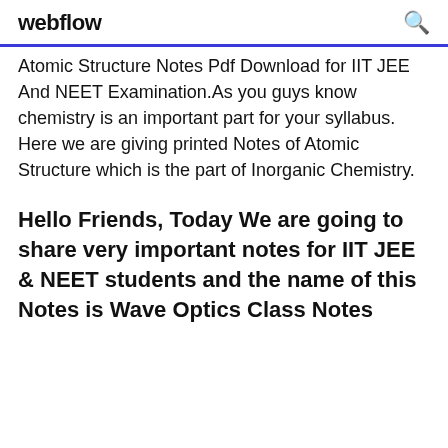webflow
Atomic Structure Notes Pdf Download for IIT JEE And NEET Examination.As you guys know chemistry is an important part for your syllabus. Here we are giving printed Notes of Atomic Structure which is the part of Inorganic Chemistry.
Hello Friends, Today We are going to share very important notes for IIT JEE & NEET students and the name of this Notes is Wave Optics Class Notes